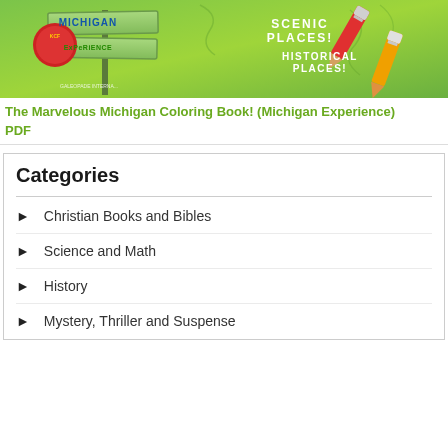[Figure (illustration): Book cover for 'The Marvelous Michigan Coloring Book! (Michigan Experience)' featuring a green background with crayons, sign posts, and the Michigan Experience logo with text 'SCENIC PLACES!' and 'HISTORICAL PLACES!']
The Marvelous Michigan Coloring Book! (Michigan Experience) PDF
Categories
Christian Books and Bibles
Science and Math
History
Mystery, Thriller and Suspense